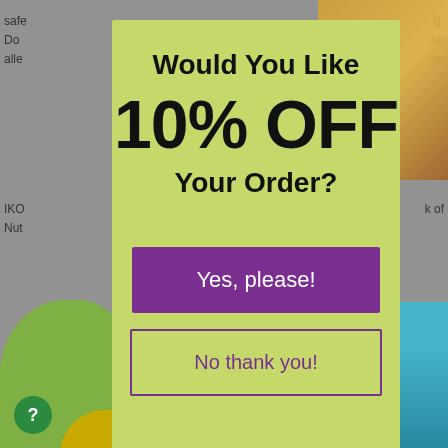safe
Do
alle
IKO
Nut
k of
Would You Like
10% OFF
Your Order?
Yes, please!
No thank you!